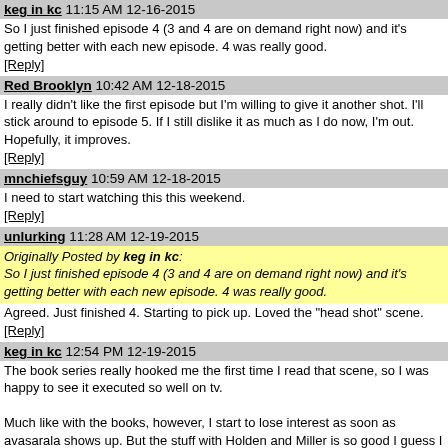keg in kc 11:15 AM 12-16-2015
So I just finished episode 4 (3 and 4 are on demand right now) and it's getting better with each new episode. 4 was really good.
[Reply]
Red Brooklyn 10:42 AM 12-18-2015
I really didn't like the first episode but I'm willing to give it another shot. I'll stick around to episode 5. If I still dislike it as much as I do now, I'm out. Hopefully, it improves.
[Reply]
mnchiefsguy 10:59 AM 12-18-2015
I need to start watching this this weekend.
[Reply]
unlurking 11:28 AM 12-19-2015
Originally Posted by keg in kc: So I just finished episode 4 (3 and 4 are on demand right now) and it's getting better with each new episode. 4 was really good.
Agreed. Just finished 4. Starting to pick up. Loved the "head shot" scene.
[Reply]
keg in kc 12:54 PM 12-19-2015
The book series really hooked me the first time I read that scene, so I was happy to see it executed so well on tv.

Much like with the books, however, I start to lose interest as soon as avasarala shows up. But the stuff with Holden and Miller is so good I guess I don't care all that much.

Although I did like the scene with the rugrat on the roof and how it foreshadowed events from the latest book.